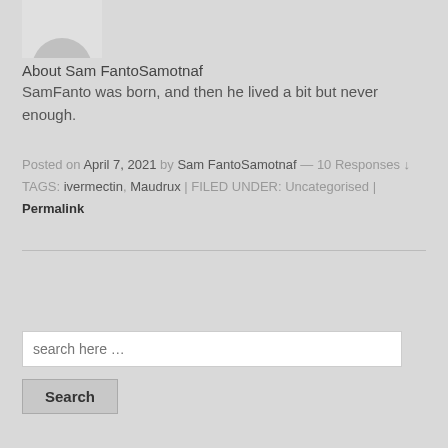[Figure (photo): Partial avatar/profile picture showing a grey circle (head) on a light grey background, cropped at top]
About Sam FantoSamotnaf
SamFanto was born, and then he lived a bit but never enough.
Posted on April 7, 2021 by Sam FantoSamotnaf — 10 Responses ↓
TAGS: ivermectin, Maudrux | FILED UNDER: Uncategorised | Permalink
search here …